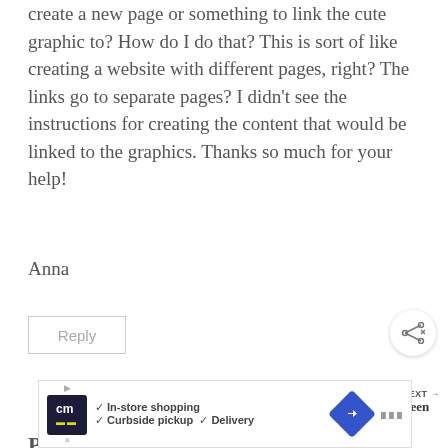create a new page or something to link the cute graphic to? How do I do that? This is sort of like creating a website with different pages, right? The links go to separate pages? I didn't see the instructions for creating the content that would be linked to the graphics. Thanks so much for your help!
Anna
Reply
WHAT'S NEXT → You've Been Boo'd
Pink Princess says:
[Figure (screenshot): Advertisement banner: CM logo with In-store shopping, Curbside pickup, Delivery checkmarks, navigation arrow icon]